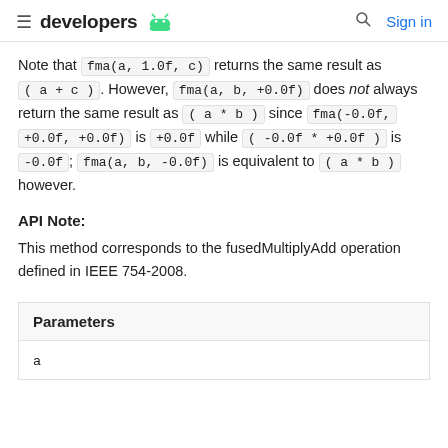developers [android logo] | [search] Sign in
Note that fma(a, 1.0f, c) returns the same result as (a + c). However, fma(a, b, +0.0f) does not always return the same result as (a * b) since fma(-0.0f, +0.0f, +0.0f) is +0.0f while (-0.0f * +0.0f) is -0.0f; fma(a, b, -0.0f) is equivalent to (a * b) however.
API Note:
This method corresponds to the fusedMultiplyAdd operation defined in IEEE 754-2008.
| Parameters |
| --- |
| a |